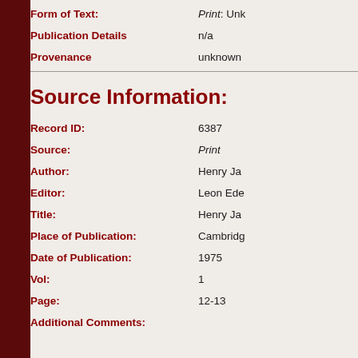Form of Text: Print: Unk
Publication Details  n/a
Provenance  unknown
Source Information:
Record ID:  6387
Source:  Print
Author:  Henry Ja
Editor:  Leon Ede
Title:  Henry Ja
Place of Publication:  Cambridg
Date of Publication:  1975
Vol:  1
Page:  12-13
Additional Comments: